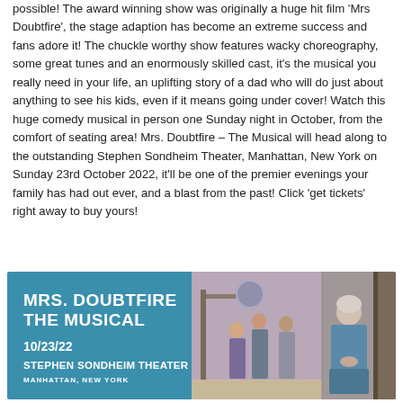possible! The award winning show was originally a huge hit film 'Mrs Doubtfire', the stage adaption has become an extreme success and fans adore it! The chuckle worthy show features wacky choreography, some great tunes and an enormously skilled cast, it's the musical you really need in your life, an uplifting story of a dad who will do just about anything to see his kids, even if it means going under cover! Watch this huge comedy musical in person one Sunday night in October, from the comfort of seating area! Mrs. Doubtfire – The Musical will head along to the outstanding Stephen Sondheim Theater, Manhattan, New York on Sunday 23rd October 2022, it'll be one of the premier evenings your family has had out ever, and a blast from the past! Click 'get tickets' right away to buy yours!
[Figure (illustration): Promotional banner for Mrs. Doubtfire The Musical. Left side has teal/blue background with white text showing title 'MRS. DOUBTFIRE THE MUSICAL', date '10/23/22', 'STEPHEN SONDHEIM THEATER', 'MANHATTAN, NEW YORK'. Right side shows stage photography of actors in costume from the show.]